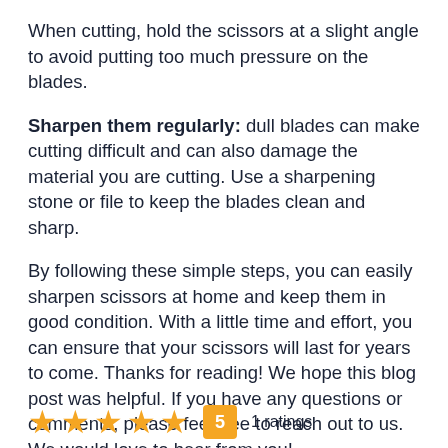When cutting, hold the scissors at a slight angle to avoid putting too much pressure on the blades.
Sharpen them regularly: dull blades can make cutting difficult and can also damage the material you are cutting. Use a sharpening stone or file to keep the blades clean and sharp.
By following these simple steps, you can easily sharpen scissors at home and keep them in good condition. With a little time and effort, you can ensure that your scissors will last for years to come. Thanks for reading! We hope this blog post was helpful. If you have any questions or comments, please feel free to reach out to us. We would love to hear from you!
★ ★ ★ ★ ★  5  1 ratings